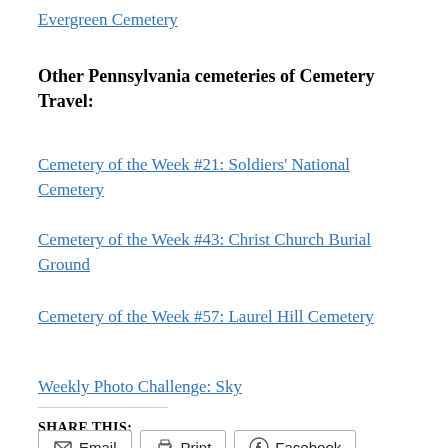Evergreen Cemetery
Other Pennsylvania cemeteries of Cemetery Travel:
Cemetery of the Week #21: Soldiers' National Cemetery
Cemetery of the Week #43: Christ Church Burial Ground
Cemetery of the Week #57: Laurel Hill Cemetery
Weekly Photo Challenge: Sky
SHARE THIS:
Email  Print  Facebook